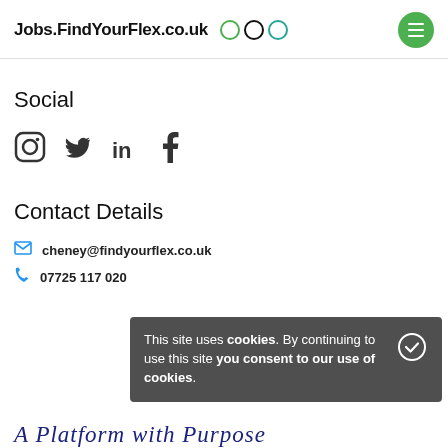Jobs.FindYourFlex.co.uk
Social
[Figure (other): Social media icons: Instagram, Twitter, LinkedIn, Facebook]
Contact Details
cheney@findyourflex.co.uk
07725 117 020
This site uses cookies. By continuing to use this site you consent to our use of cookies.
A Platform with Purpose